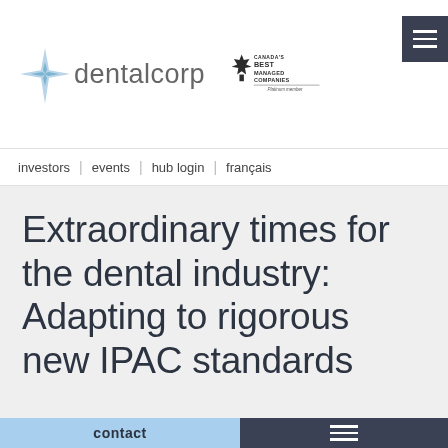[Figure (logo): Dentalcorp logo with four-pointed star/compass icon and company name 'dentalcorp', alongside Canada's Best Managed Companies Platinum member badge]
[Figure (other): Dark hamburger menu button in top right corner]
investors | events | hub login | français
Extraordinary times for the dental industry: Adapting to rigorous new IPAC standards
contact  ☰